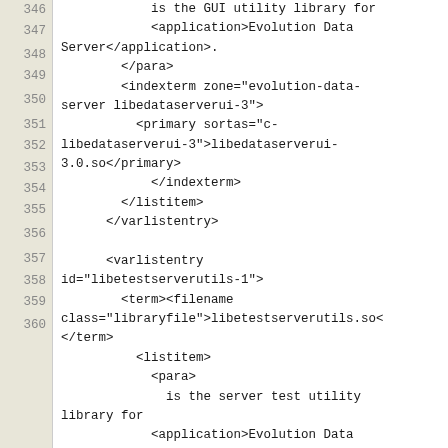Code listing lines 346-360 showing XML source code for documentation markup including indexterm, primary, listitem, varlistentry, term, filename, and para elements.